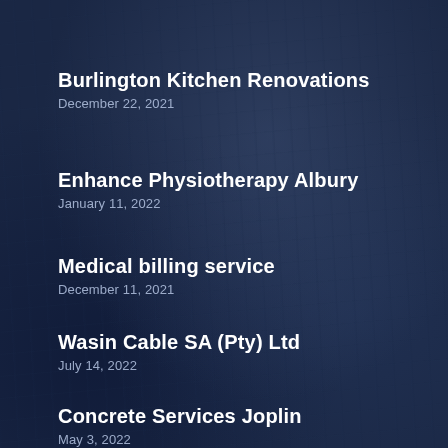Burlington Kitchen Renovations
December 22, 2021
Enhance Physiotherapy Albury
January 11, 2022
Medical billing service
December 11, 2021
Wasin Cable SA (Pty) Ltd
July 14, 2022
Concrete Services Joplin
May 3, 2022